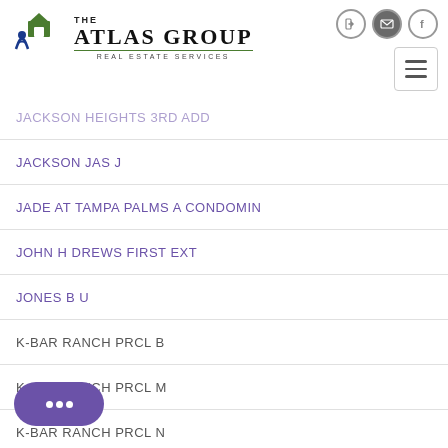The Atlas Group Real Estate Services
JACKSON HEIGHTS 3RD ADD
JACKSON JAS J
JADE AT TAMPA PALMS A CONDOMIN
JOHN H DREWS FIRST EXT
JONES B U
K-BAR RANCH PRCL B
K-BAR RANCH PRCL M
K-BAR RANCH PRCL N